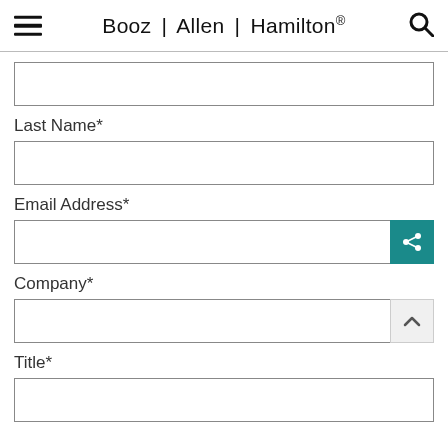Booz | Allen | Hamilton®
Last Name*
Email Address*
Company*
Title*